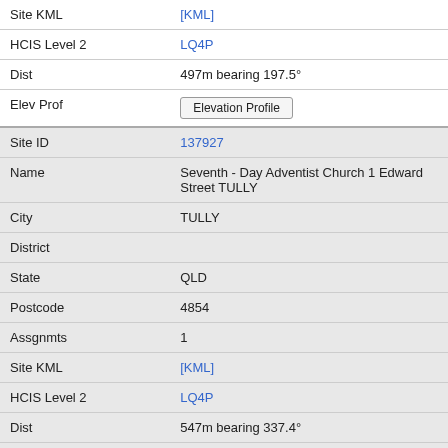| Field | Value |
| --- | --- |
| Site KML | [KML] |
| HCIS Level 2 | LQ4P |
| Dist | 497m bearing 197.5° |
| Elev Prof | Elevation Profile |
| Site ID | 137927 |
| Name | Seventh - Day Adventist Church 1 Edward Street TULLY |
| City | TULLY |
| District |  |
| State | QLD |
| Postcode | 4854 |
| Assgnmts | 1 |
| Site KML | [KML] |
| HCIS Level 2 | LQ4P |
| Dist | 547m bearing 337.4° |
| Elev Prof | Elevation Profile |